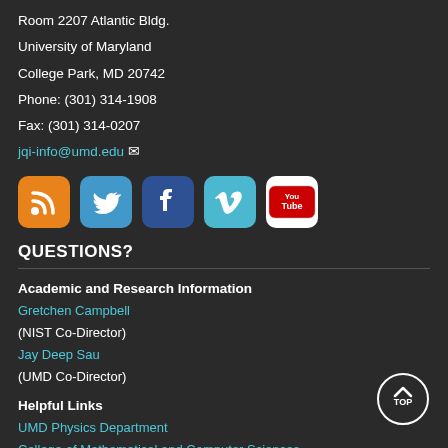Room 2207 Atlantic Bldg.
University of Maryland
College Park, MD 20742
Phone: (301) 314-1908
Fax: (301) 314-0207
jqi-info@umd.edu
[Figure (infographic): Row of five social media icons: RSS (orange), Twitter (blue bird), Facebook (blue f), Vimeo (teal v), YouTube (white/red logo)]
QUESTIONS?
Academic and Research Information
Gretchen Campbell (NIST Co-Director)
Jay Deep Sau (UMD Co-Director)
Helpful Links
UMD Physics Department
College of Mathematical and Computer Sciences
UMD
NIST